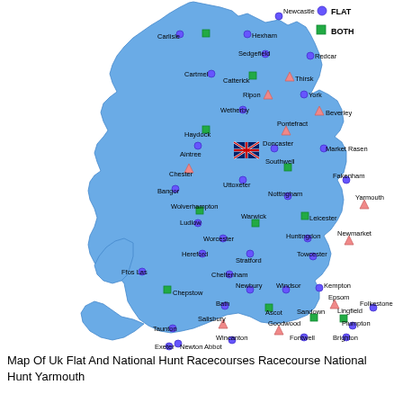[Figure (map): Map of the United Kingdom showing locations of flat and national hunt racecourses. England and Wales are shown in blue. Racecourse locations are marked with colored dots (blue circles for flat, green squares for national hunt, pink triangles for both). A Union Jack flag marks the center of England. Locations labeled include: Newcastle, Carlisle, Hexham, Sedgefield, Redcar, Cartmel, Catterick, Thirsk, Ripon, York, Wetherby, Beverley, Haydock, Pontefract, Aintree, Doncaster, Market Rasen, Chester, Southwell, Uttoxeter, Bangor, Fakenham, Nottingham, Yarmouth, Wolverhampton, Ludlow, Warwick, Leicester, Worcester, Huntingdon, Newmarket, Hereford, Stratford, Towcester, Ffos Las, Cheltenham, Chepstow, Newbury, Windsor, Kempton, Bath, Ascot, Epsom, Folkestone, Sandown, Lingfield, Salisbury, Goodwood, Fontwell, Plumpton, Brighton, Taunton, Wincanton, Exeter, Newton Abbot. Legend at top right shows: blue circle = flat, green square = both (BOTH label visible).]
Map Of Uk Flat And National Hunt Racecourses Racecourse National Hunt Yarmouth